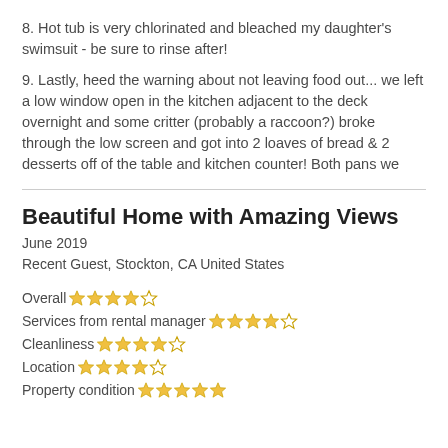8. Hot tub is very chlorinated and bleached my daughter's swimsuit - be sure to rinse after!
9. Lastly, heed the warning about not leaving food out... we left a low window open in the kitchen adjacent to the deck overnight and some critter (probably a raccoon?) broke through the low screen and got into 2 loaves of bread & 2 desserts off of the table and kitchen counter! Both pans we
Beautiful Home with Amazing Views
June 2019
Recent Guest, Stockton, CA United States
Overall ★★★★☆
Services from rental manager ★★★★☆
Cleanliness ★★★★☆
Location ★★★★☆
Property condition ★★★★★